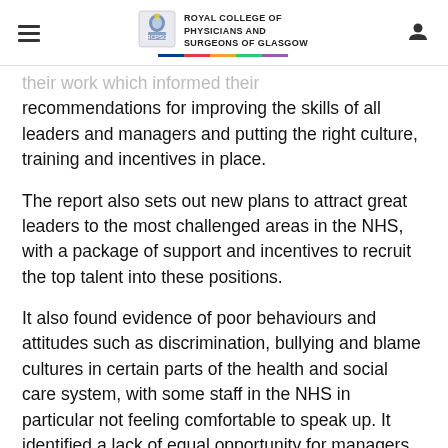Royal College of Physicians and Surgeons of Glasgow
their work which informed their recommendations for improving the skills of all leaders and managers and putting the right culture, training and incentives in place.
The report also sets out new plans to attract great leaders to the most challenged areas in the NHS, with a package of support and incentives to recruit the top talent into these positions.
It also found evidence of poor behaviours and attitudes such as discrimination, bullying and blame cultures in certain parts of the health and social care system, with some staff in the NHS in particular not feeling comfortable to speak up. It identified a lack of equal opportunity for managers to access training and colleagues to